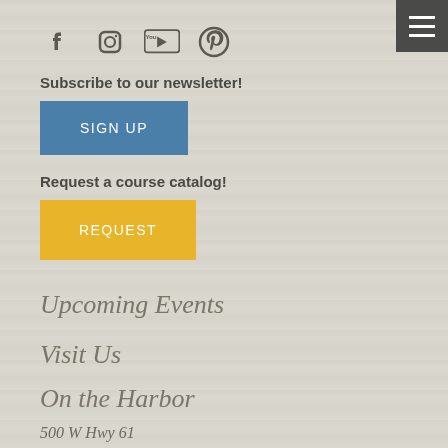[Figure (illustration): Social media icons row: Facebook, Instagram, YouTube, Pinterest in dark olive/grey color]
Subscribe to our newsletter!
SIGN UP
Request a course catalog!
REQUEST
Upcoming Events
Visit Us
On the Harbor
500 W Hwy 61